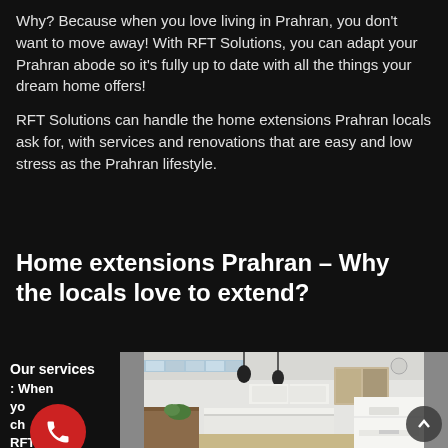Why? Because when you love living in Prahran, you don't want to move away! With RFT Solutions, you can adapt your Prahran abode so it's fully up to date with all the things your dream home offers!
RFT Solutions can handle the home extensions Prahran locals ask for, with services and renovations that are easy and low stress as the Prahran lifestyle.
Home extensions Prahran – Why the locals love to extend?
Our services: When you ch... RFT Solution
[Figure (photo): Interior photo of a modern kitchen with white cabinetry, island bench, pendant lights, and a window showing outdoor greenery]